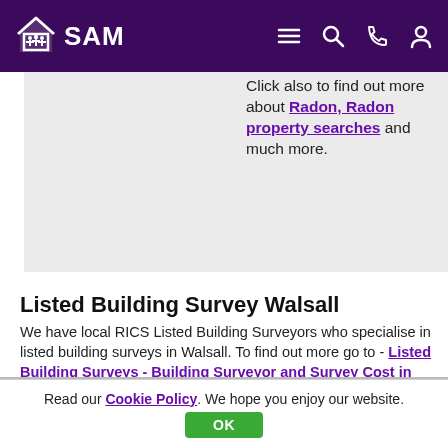SAM - navigation header
Click also to find out more about Radon, Radon property searches and much more.
Listed Building Survey Walsall
We have local RICS Listed Building Surveyors who specialise in listed building surveys in Walsall. To find out more go to - Listed Building Surveys - Building Surveyor and Survey Cost in Walsall
We have completed HomeBuyer Reports and Building
Read our Cookie Policy. We hope you enjoy our website. OK